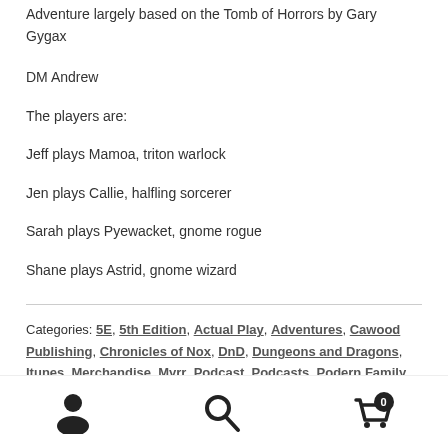Adventure largely based on the Tomb of Horrors by Gary Gygax
DM Andrew
The players are:
Jeff plays Mamoa, triton warlock
Jen plays Callie, halfling sorcerer
Sarah plays Pyewacket, gnome rogue
Shane plays Astrid, gnome wizard
Categories: 5E, 5th Edition, Actual Play, Adventures, Cawood Publishing, Chronicles of Nox, DnD, Dungeons and Dragons, Itunes, Merchandise, Myrr, Podcast, Podcasts, Podern Family, Recording, Redbubble, Role Playing Game, RPG, Tabletop Gaming, West of the Wood, World of Myrr
Tags: 5E, 5th Edition, Adventure, DnD, Dungeons and Dragons,
navigation icons: account, search, cart (0)